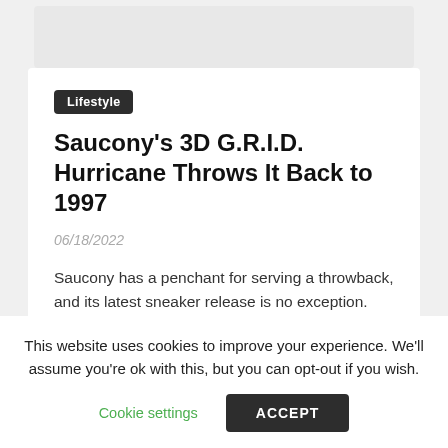[Figure (photo): Partial view of a Saucony sneaker (shoe) shown from above on a white/light background, cropped at the top]
Lifestyle
Saucony's 3D G.R.I.D. Hurricane Throws It Back to 1997
06/18/2022
Saucony has a penchant for serving a throwback, and its latest sneaker release is no exception. Later this month, Saucony will launch the 3D G.R.I.D. Hurricane in "White/Green," harking back...
This website uses cookies to improve your experience. We'll assume you're ok with this, but you can opt-out if you wish.
Cookie settings
ACCEPT